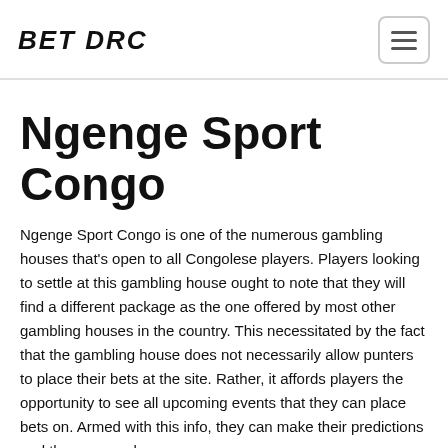BET DRC
Ngenge Sport Congo
Ngenge Sport Congo is one of the numerous gambling houses that's open to all Congolese players. Players looking to settle at this gambling house ought to note that they will find a different package as the one offered by most other gambling houses in the country. This necessitated by the fact that the gambling house does not necessarily allow punters to place their bets at the site. Rather, it affords players the opportunity to see all upcoming events that they can place bets on. Armed with this info, they can make their predictions and then proceed